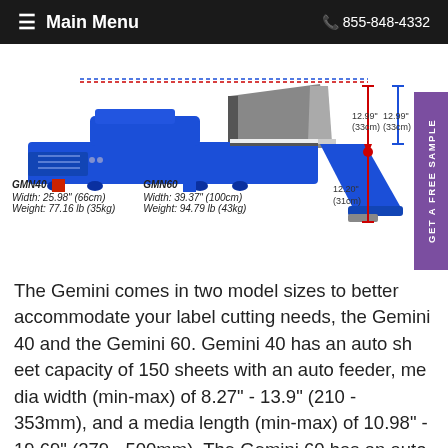≡ Main Menu   📞 855-848-4332
[Figure (engineering-diagram): Technical diagram of the Gemini label cutting machine shown from the side. Blue and gray components visible. Dimension lines show: 12.99" (33cm) in red and 12.99" (33cm) in blue at top right, and 12.20" (31cm) in red at bottom right. Legend shows GMN40 (red square) Width: 25.98" (66cm), Weight: 77.16 lb (35kg) and GMN60 (blue square) Width: 39.37" (100cm), Weight: 94.79 lb (43kg).]
The Gemini comes in two model sizes to better accommodate your label cutting needs, the Gemini 40 and the Gemini 60. Gemini 40 has an auto sheet capacity of 150 sheets with an auto feeder, media width (min-max) of 8.27" - 13.9" (210 - 353mm), and a media length (min-max) of 10.98" - 19.69" (279 - 500mm). The Gemini 60 has an auto sheet capacity of 150 sheets with an auto feeder, media width